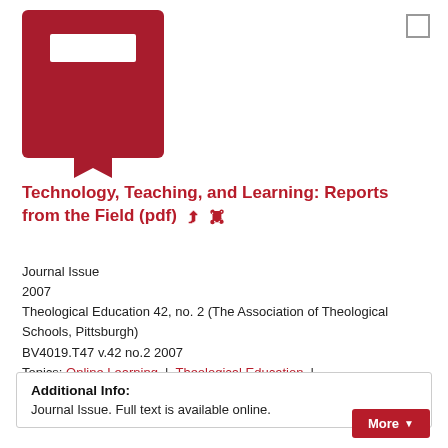[Figure (illustration): Dark red book icon with white rectangle label on cover and a bookmark ribbon at the bottom]
Technology, Teaching, and Learning: Reports from the Field (pdf)
Journal Issue
2007
Theological Education 42, no. 2 (The Association of Theological Schools, Pittsburgh)
BV4019.T47 v.42 no.2 2007
Topics: Online Learning | Theological Education | Using Technology
Additional Info:
Journal Issue. Full text is available online.